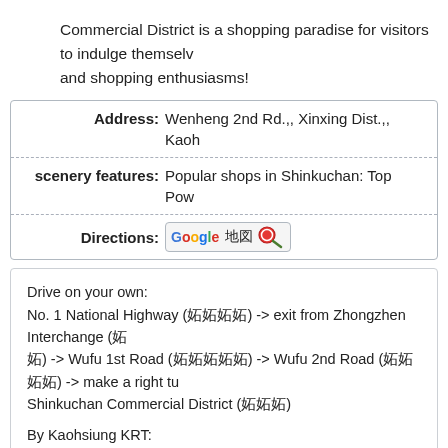Commercial District is a shopping paradise for visitors to indulge themselves and shopping enthusiasms!
| Address: | Wenheng 2nd Rd.,, Xinxing Dist.,, Kaoh |
| scenery features: | Popular shops in Shinkuchan: Top Pow |
| Directions: | Google 地図 [map button] |
Drive on your own:
No. 1 National Highway (囲囲囲囲) -> exit from Zhongzhen Interchange (囲囲囲囲囲) -> Wufu 1st Road (囲囲囲囲囲) -> Wufu 2nd Road (囲囲囲囲) -> make a right tu Shinkuchan Commercial District (囲囲囲)
By Kaohsiung KRT:
Take Kaohsiung KRT-Red Line (囲囲囲囲囲囲) to exit no. 3 of KRT Central P
By Bus:
1. Take bus no. 12, 100 or 301 from the front of Kaohsiung Train Sta 囲囲囲囲囲).
2. Take bus no. 25, 50, 76, 77, 92, 205, or 218 to Urban Spotlight sto